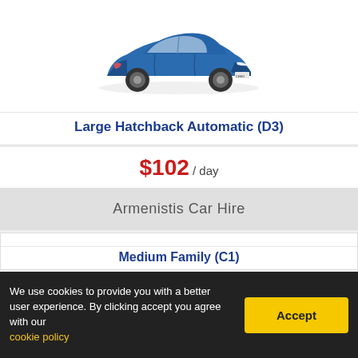[Figure (photo): Blue Kia hatchback car viewed from front-right angle]
Large Hatchback Automatic (D3)
$102 / day
Armenistis Car Hire
[Figure (photo): Dark navy blue Ford Fiesta hatchback car viewed from front-right angle]
Medium Family (C1)
We use cookies to provide you with a better user experience. By clicking accept you agree with our cookie policy